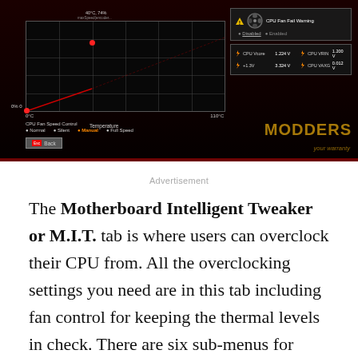[Figure (screenshot): BIOS/UEFI fan control screen showing CPU fan speed control graph with temperature on X-axis (0°C to 110°C) and fan speed percentage on Y-axis. Graph shows two red data points — one at approximately 0% and one at 40°C/74%. Right panel shows CPU Fan Fail Warning (Disabled/Enabled toggle), voltage readings: CPU Vcore 1.224V, CPU VRIN 1.200V, +1.3V 3.324V, CPU VAXG 0.012V. Bottom shows CPU Fan Speed Control options: Normal, Silent, Manual (selected), Full Speed. Back button in bottom left. MODDERS watermark in gold. 'your warranty' text in gold.]
Advertisement
The Motherboard Intelligent Tweaker or M.I.T. tab is where users can overclock their CPU from. All the overclocking settings you need are in this tab including fan control for keeping the thermal levels in check. There are six sub-menus for adjustments here including a redundant Smart Fan settings